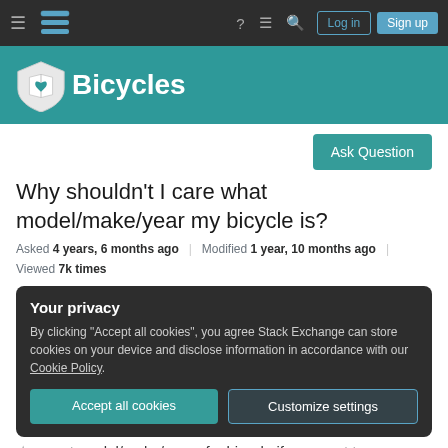Stack Exchange navigation bar with hamburger menu, Stack Exchange logo, help, chat, search icons, Log in and Sign up buttons
[Figure (logo): Bicycles Stack Exchange site header with teal background, shield logo with heart and book icon, and 'Bicycles' text in white]
Ask Question
Why shouldn't I care what model/make/year my bicycle is?
Asked 4 years, 6 months ago   Modified 1 year, 10 months ago   Viewed 7k times
Your privacy
By clicking "Accept all cookies", you agree Stack Exchange can store cookies on your device and disclose information in accordance with our Cookie Policy.
Accept all cookies   Customize settings
exact model/make/year of a bicycle if you want to